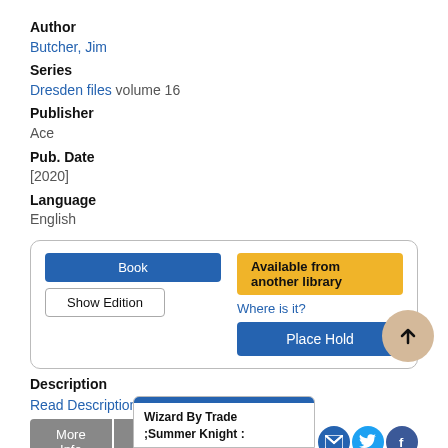Author
Butcher, Jim
Series
Dresden files volume 16
Publisher
Ace
Pub. Date
[2020]
Language
English
[Figure (screenshot): Library catalog card with Book button, Show Edition button, Available from another library badge, Where is it? link, and Place Hold button]
Description
Read Description
More Info | Add a Review | Add to list
[Figure (screenshot): Bottom card showing 'Wizard By Trade ;Summer Knight :' text with blue header bar]